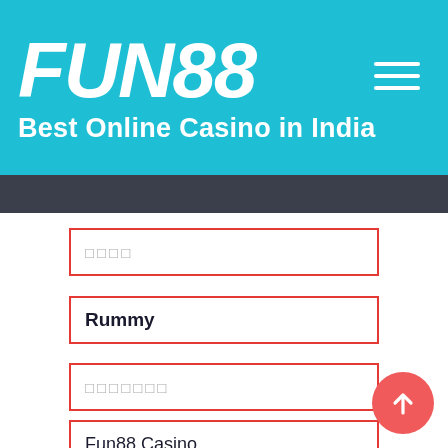[Figure (logo): FUN88 logo with cyan/teal background, large white italic bold text 'FUN88', tagline 'Best Online Casino in India' in white bold below, hamburger menu icon top right]
□□□□
Rummy
□□□□□□□
Fun88  Casino